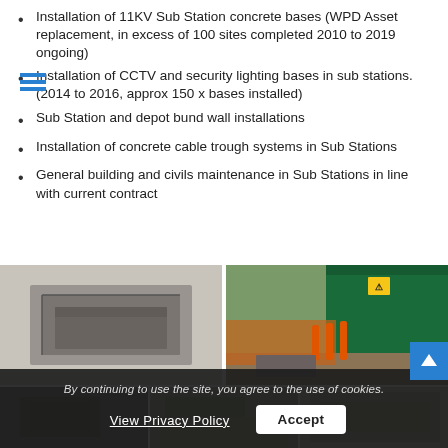Installation of 11KV Sub Station concrete bases (WPD Asset replacement, in excess of 100 sites completed 2010 to 2019 ongoing)
Installation of CCTV and security lighting bases in sub stations. (2014 to 2016, approx 150 x bases installed)
Sub Station and depot bund wall installations
Installation of concrete cable trough systems in Sub Stations
General building and civils maintenance in Sub Stations in line with current contract
[Figure (photo): Two construction site photos: left shows a concrete cable trough/pit excavation; right shows a green substation building with orange safety bollards and orange safety netting around excavation area.]
[Figure (photo): Bottom row of construction/installation photos partially visible.]
By continuing to use the site, you agree to the use of cookies.
View Privacy Policy  Accept